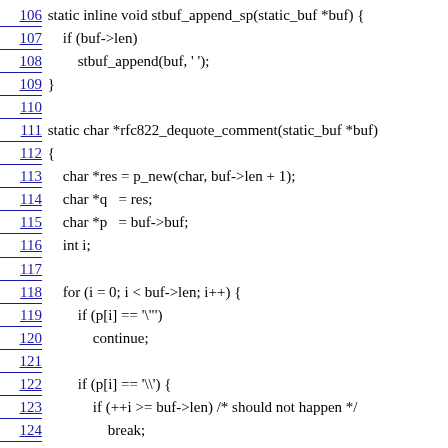106 static inline void stbuf_append_sp(static_buf *buf) {
107     if (buf->len)
108         stbuf_append(buf, ' ');
109 }
110
111 static char *rfc822_dequote_comment(static_buf *buf)
112 {
113     char *res = p_new(char, buf->len + 1);
114     char *q   = res;
115     char *p   = buf->buf;
116     int i;
117
118     for (i = 0; i < buf->len; i++) {
119         if (p[i] == '\"')
120             continue;
121
122         if (p[i] == '\\') {
123             if (++i >= buf->len) /* should not happen */
124                 break;
125         }
126
127         *q++ = p[i];
128     }
129
130     *q++ = '\0';